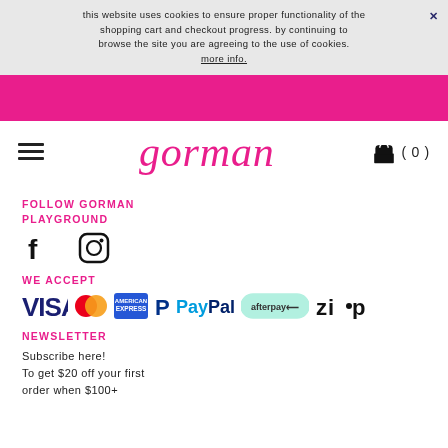this website uses cookies to ensure proper functionality of the shopping cart and checkout progress. by continuing to browse the site you are agreeing to the use of cookies. more info.
[Figure (logo): Gorman brand logo in pink italic script font]
FOLLOW GORMAN PLAYGROUND
[Figure (infographic): Facebook and Instagram social media icons]
WE ACCEPT
[Figure (infographic): Payment method logos: VISA, Mastercard, American Express, PayPal, Afterpay, Zip]
NEWSLETTER
Subscribe here! To get $20 off your first order when $100+